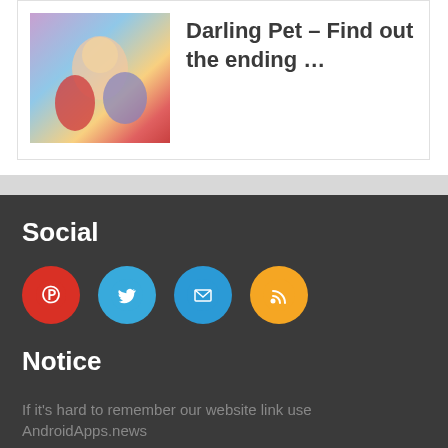Darling Pet – Find out the ending …
Social
[Figure (infographic): Four social media icon circles: Pinterest (red), Twitter (light blue), Mail (blue), RSS (orange)]
Notice
If it's hard to remember our website link use  AndroidApps.news